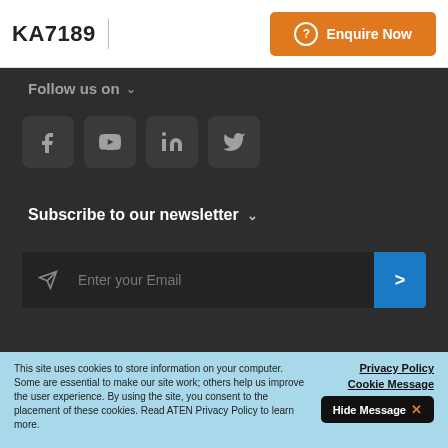KA7189
Follow us on
[Figure (illustration): Four social media icon buttons: Facebook, YouTube, LinkedIn, Twitter — dark rounded square backgrounds with grey icons]
Subscribe to our newsletter
[Figure (screenshot): Email subscription input field with paper-plane icon on the left, 'Enter your Email' placeholder text, and a blue submit arrow button on the right]
This site uses cookies to store information on your computer. Some are essential to make our site work; others help us improve the user experience. By using the site, you consent to the placement of these cookies. Read ATEN Privacy Policy to learn more.
Privacy Policy
Cookie Message
Hide Message ✕